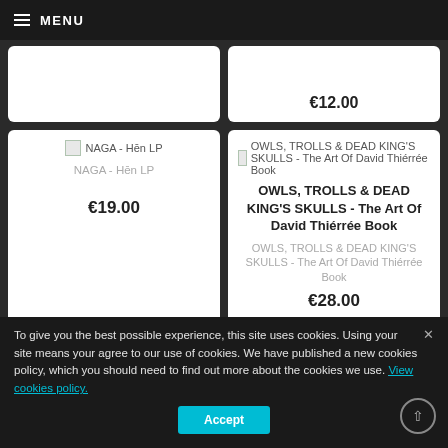MENU
€12.00
[Figure (screenshot): Product card for NAGA - Hēn LP showing placeholder image, title, and price €19.00]
[Figure (screenshot): Product card for OWLS, TROLLS & DEAD KING'S SKULLS - The Art Of David Thiérrée Book showing price €28.00]
[Figure (screenshot): Partial product card for AMENRA - De Doorn CD]
[Figure (screenshot): Partial product card for FIMBULTYR - Niddikter CD]
To give you the best possible experience, this site uses cookies. Using your site means your agree to our use of cookies. We have published a new cookies policy, which you should need to find out more about the cookies we use. View cookies policy.
Accept